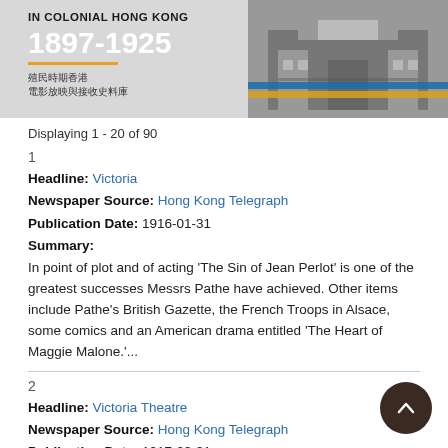[Figure (photo): Banner image for a colonial Hong Kong cinema archive database, 1897-1925, with Chinese text and a sepia photo of a building on the right side with blue and yellow stripes.]
Displaying 1 - 20 of 90
1
Headline: Victoria
Newspaper Source: Hong Kong Telegraph
Publication Date: 1916-01-31
Summary:
In point of plot and of acting 'The Sin of Jean Perlot' is one of the greatest successes Messrs Pathe have achieved. Other items include Pathe's British Gazette, the French Troops in Alsace, some comics and an American drama entitled 'The Heart of Maggie Malone.'...
2
Headline: Victoria Theatre
Newspaper Source: Hong Kong Telegraph
Publication Date: 1917-03-31
Summary: